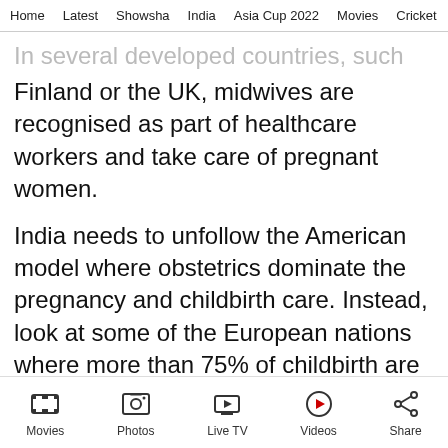Home  Latest  Showsha  India  Asia Cup 2022  Movies  Cricket
In several developed countries, such as in Finland or the UK, midwives are recognised as part of healthcare workers and take care of pregnant women.
India needs to unfollow the American model where obstetrics dominate the pregnancy and childbirth care. Instead, look at some of the European nations where more than 75% of childbirth are handled by midwives.
This category of healthcare workers is known as trusted companions of women throughout the…
Movies  Photos  Live TV  Videos  Share